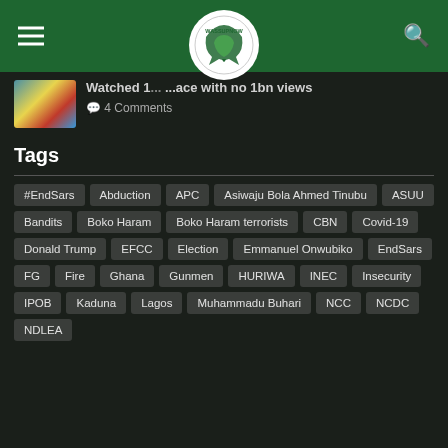Wassupnow logo, hamburger menu, search icon
Watched 1... ...ace with no 1bn views
4 Comments
Tags
#EndSars
Abduction
APC
Asiwaju Bola Ahmed Tinubu
ASUU
Bandits
Boko Haram
Boko Haram terrorists
CBN
Covid-19
Donald Trump
EFCC
Election
Emmanuel Onwubiko
EndSars
FG
Fire
Ghana
Gunmen
HURIWA
INEC
Insecurity
IPOB
Kaduna
Lagos
Muhammadu Buhari
NCC
NCDC
NDLEA